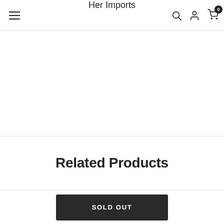Her Imports
Related Products
SOLD OUT